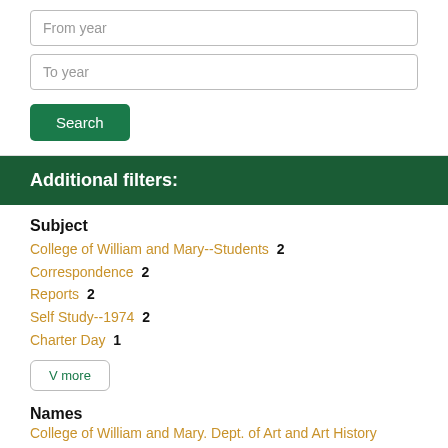From year
To year
Search
Additional filters:
Subject
College of William and Mary--Students 2
Correspondence 2
Reports 2
Self Study--1974 2
Charter Day 1
V more
Names
College of William and Mary. Dept. of Art and Art History